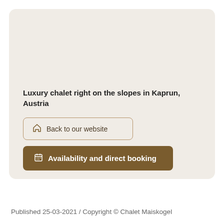Luxury chalet right on the slopes in Kaprun, Austria
Back to our website
Availability and direct booking
Published 25-03-2021 / Copyright © Chalet Maiskogel